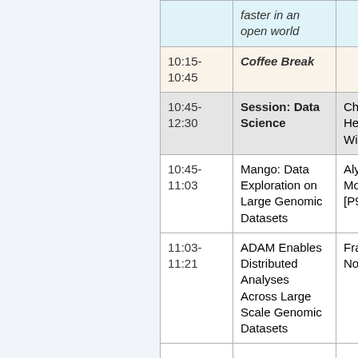| Time | Event | Person |
| --- | --- | --- |
|  | faster in an open world |  |
| 10:15-10:45 | Coffee Break |  |
| 10:45-12:30 | Session: Data Science | Chair: Heather Wiencko |
| 10:45-11:03 | Mango: Data Exploration on Large Genomic Datasets | Alyssa Morrow [P9] |
| 11:03-11:21 | ADAM Enables Distributed Analyses Across Large Scale Genomic Datasets | Frank Nothaft |
|  |  |  |